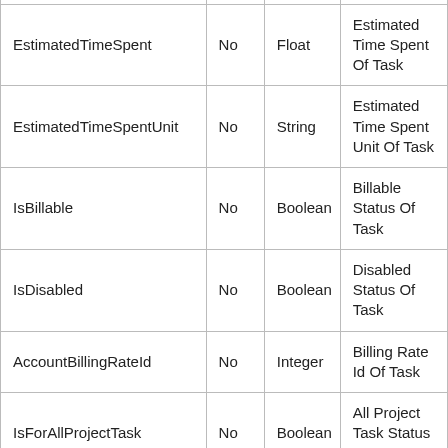| EstimatedTimeSpent | No | Float | Estimated Time Spent Of Task |
| EstimatedTimeSpentUnit | No | String | Estimated Time Spent Unit Of Task |
| IsBillable | No | Boolean | Billable Status Of Task |
| IsDisabled | No | Boolean | Disabled Status Of Task |
| AccountBillingRateId | No | Integer | Billing Rate Id Of Task |
| IsForAllProjectTask | No | Boolean | All Project Task Status Of Task |
| ... | ... | ... | Task Code Of... |